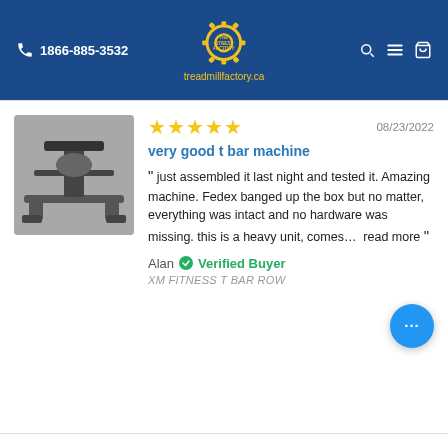1866-885-3532 | The Fitness Factory | treadmillfactory.ca
[Figure (photo): Black and white photo of a T-bar row machine on a gym floor]
★★★★★  08/23/2022
very good t bar machine
" just assembled it last night and tested it. Amazing machine. Fedex banged up the box but no matter, everything was intact and no hardware was missing. this is a heavy unit, comes…  read more "
Alan ✓ Verified Buyer
XM FITNESS T BAR ROW